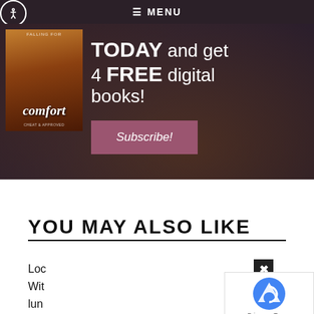☰ MENU
[Figure (screenshot): Food blog promotional banner with cookbook image and text: TODAY and get 4 FREE digital books! Subscribe! button]
YOU MAY ALSO LIKE
Loc
Wit
lun